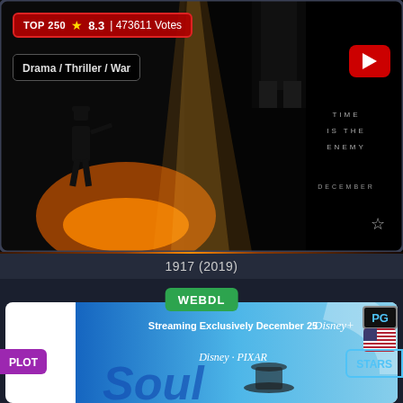[Figure (screenshot): Movie poster for 1917 (2019) showing soldiers in WWII scene with orange/dark background. Shows 'TIME IS THE ENEMY' tagline and 'DECEMBER' text. Has TOP 250 badge with 8.3 rating and 473611 votes, Drama/Thriller/War genre label, and YouTube play button.]
TOP 250  ★ 8.3 | 473611 Votes
Drama / Thriller / War
TIME IS THE ENEMY
DECEMBER
1917 (2019)
WEBDL
PG
PLOT
STARS
[Figure (screenshot): Movie card for a Disney/Pixar animated film showing 'Streaming Exclusively December 25 Disney+' banner and Disney·PIXAR logo at bottom. Blue/sky background with animated character.]